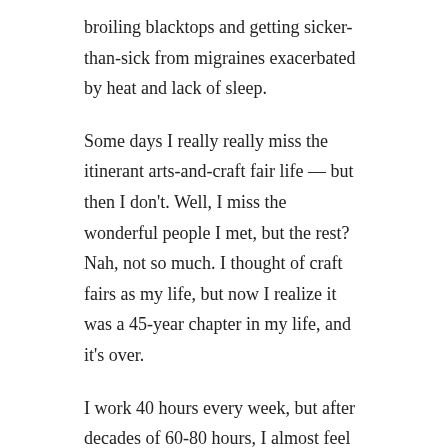broiling blacktops and getting sicker-than-sick from migraines exacerbated by heat and lack of sleep.
Some days I really really miss the itinerant arts-and-craft fair life — but then I don't. Well, I miss the wonderful people I met, but the rest? Nah, not so much. I thought of craft fairs as my life, but now I realize it was a 45-year chapter in my life, and it's over.
I work 40 hours every week, but after decades of 60-80 hours, I almost feel like a slacker. (Almost. I try not to do guilt.) Most of my business is online, with my jewelry also shown in two local galleries. I still have no plans to retire. I love what I do.
For anyone who doesn't know — my main venue is Amazon Handmade, with older merchandise in ArtFire and Etsy. My shop name everywhere is Meredithbead.